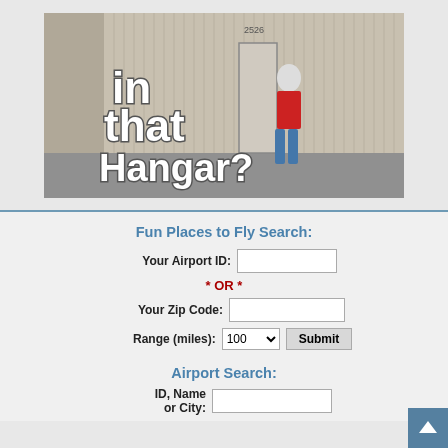[Figure (photo): Photo of a man in a red shirt standing in front of metal hangar buildings, with large bold white text reading 'What's in that Hangar?' overlaid on the image. A door labeled '2526' is visible.]
Fun Places to Fly Search:
Your Airport ID:
* OR *
Your Zip Code:
Range (miles): 100  Submit
Airport Search:
ID, Name or City: